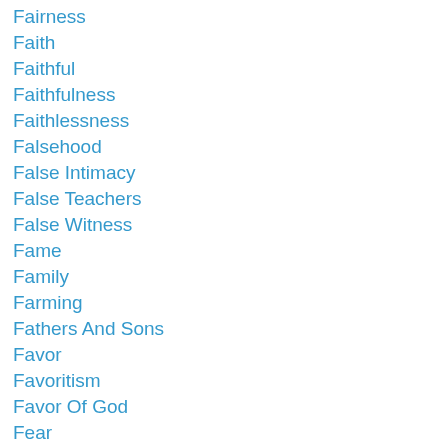Fairness
Faith
Faithful
Faithfulness
Faithlessness
Falsehood
False Intimacy
False Teachers
False Witness
Fame
Family
Farming
Fathers And Sons
Favor
Favoritism
Favor Of God
Fear
Fearing God
Feasting
Feelings
Fellowship